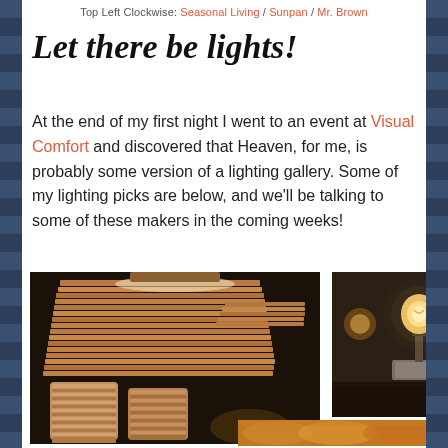Top Left Clockwise: Seasonal Living / Sunpan / Mr. Brown
Let there be lights!
At the end of my first night I went to an event at Visual Comfort and discovered that Heaven, for me, is probably some version of a lighting gallery. Some of my lighting picks are below, and we'll be talking to some of these makers in the coming weeks!
[Figure (photo): Close-up of stacked layered wood/woven pendant lamp shades in a lighting showroom]
[Figure (photo): Industrial vintage Edison bulb table lamp on a marble/wood base in a showroom]
[Figure (photo): Amber/golden decorative lamp or lighting fixture, partially visible]